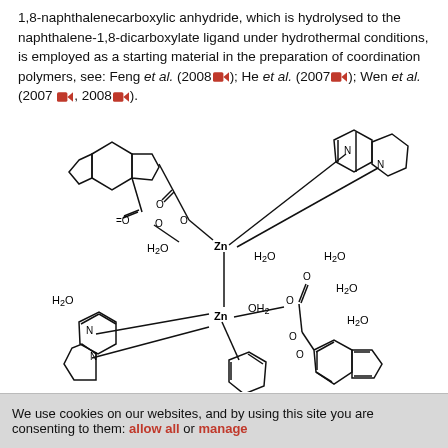1,8-naphthalenecarboxylic anhydride, which is hydrolysed to the naphthalene-1,8-dicarboxylate ligand under hydrothermal conditions, is employed as a starting material in the preparation of coordination polymers, see: Feng et al. (2008); He et al. (2007); Wen et al. (2007, 2008).
[Figure (engineering-diagram): Chemical structure diagram of a zinc coordination polymer complex showing two Zn centers coordinated to naphthalene-1,8-dicarboxylate ligands, bipyridyl ligands (2,2'-bipyridyl), and water molecules (H2O and OH2 groups labeled).]
We use cookies on our websites, and by using this site you are consenting to them: allow all or manage